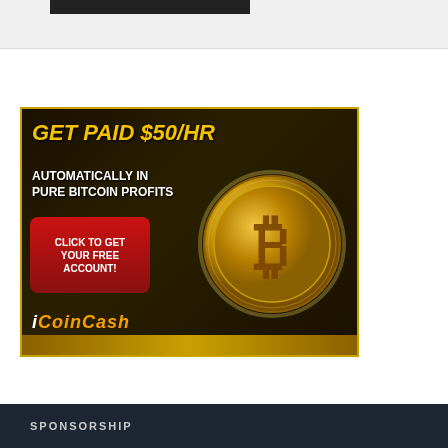[Figure (advertisement): iCoinCash advertisement: 'GET PAID $50/HR AUTOMATICALLY IN PURE BITCOIN PROFITS' with a red button 'CLICK TO GET YOUR FREE ACCOUNT!' and a gold Bitcoin coin image. Brand name 'iCoinCash' at the bottom.]
SPONSORSHIP